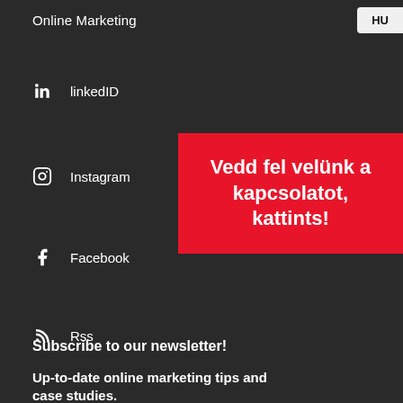Online Marketing
HU
linkedID
[Figure (infographic): Red banner with Hungarian text: Vedd fel velünk a kapcsolatot, kattints!]
Instagram
Facebook
Rss
Subscribe to our newsletter!
Up-to-date online marketing tips and case studies.